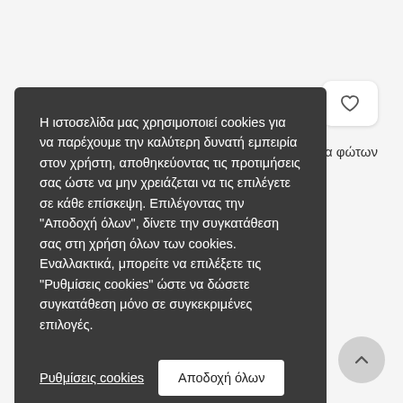[Figure (screenshot): Cookie consent overlay on a Greek website. Dark gray box with white text explaining cookie usage, with 'Ρυθμίσεις cookies' (underlined link) and 'Αποδοχή όλων' (white button) at the bottom. A heart icon button and partial text 'μα φώτων' are visible in the top-right background. A back-to-top arrow button is visible bottom-right.]